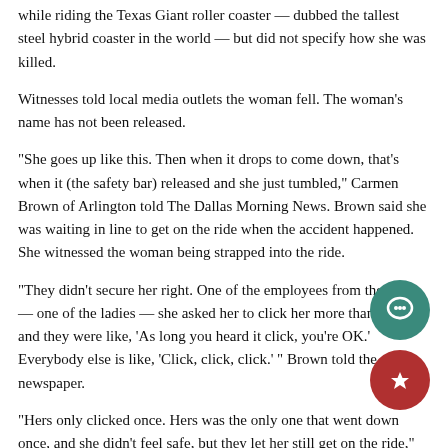while riding the Texas Giant roller coaster — dubbed the tallest steel hybrid coaster in the world — but did not specify how she was killed.
Witnesses told local media outlets the woman fell. The woman's name has not been released.
“She goes up like this. Then when it drops to come down, that’s when it (the safety bar) released and she just tumbled,” Carmen Brown of Arlington told The Dallas Morning News. Brown said she was waiting in line to get on the ride when the accident happened. She witnessed the woman being strapped into the ride.
“They didn’t secure her right. One of the employees from the park — one of the ladies — she asked her to click her more than once, and they were like, ‘As long you heard it click, you’re OK.’ Everybody else is like, ‘Click, click, click.’ ” Brown told the newspaper.
“Hers only clicked once. Hers was the only one that went down once, and she didn’t feel safe, but they let her still get on the ride,” Brown said.
Six Flags expressed sadness over the death and said the ride would be closed Saturday.
“We are working closely with authorities to determine the cause of the accident,” Parker said in a statement Saturday. She also said a concert scheduled for Saturday had been canceled.
Arlington police Sgt. Christopher Cook, the department spokesman, referred